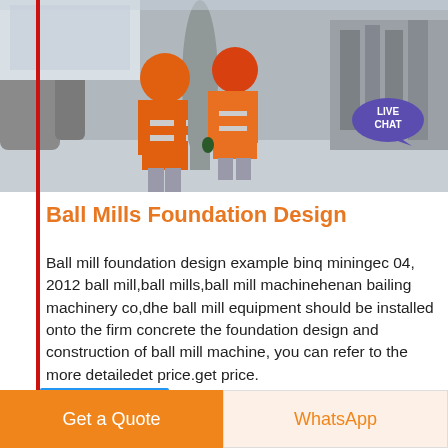[Figure (photo): Two workers in orange high-visibility vests and red hard hats viewed from behind, standing in an industrial facility with large metal pipes and machinery.]
Ball Mills Foundation Design
Ball mill foundation design example binq miningec 04, 2012 ball mill,ball mills,ball mill machinehenan bailing machinery co,dhe ball mill equipment should be installed onto the firm concrete the foundation design and construction of ball mill machine, you can refer to the more detailedet price.get price.
Sales
Get a Quote
WhatsApp